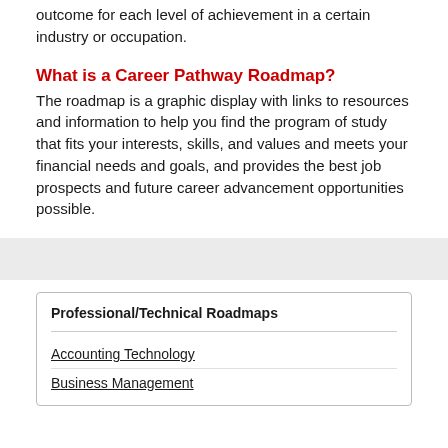outcome for each level of achievement in a certain industry or occupation.
What is a Career Pathway Roadmap?
The roadmap is a graphic display with links to resources and information to help you find the program of study that fits your interests, skills, and values and meets your financial needs and goals, and provides the best job prospects and future career advancement opportunities possible.
[Figure (other): Gray horizontal bar/divider]
| Professional/Technical Roadmaps |
| --- |
| Accounting Technology |
| Business Management |